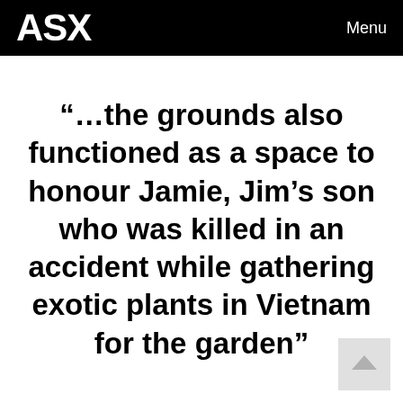ASX  Menu
“…the grounds also functioned as a space to honour Jamie, Jim’s son who was killed in an accident while gathering exotic plants in Vietnam for the garden”